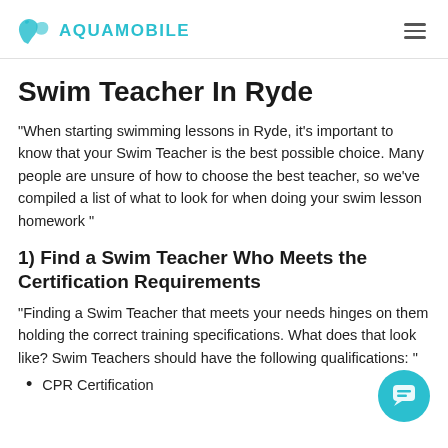AQUAMOBILE
Swim Teacher In Ryde
"When starting swimming lessons in Ryde, it's important to know that your Swim Teacher is the best possible choice. Many people are unsure of how to choose the best teacher, so we've compiled a list of what to look for when doing your swim lesson homework "
1) Find a Swim Teacher Who Meets the Certification Requirements
"Finding a Swim Teacher that meets your needs hinges on them holding the correct training specifications. What does that look like? Swim Teachers should have the following qualifications: "
CPR Certification